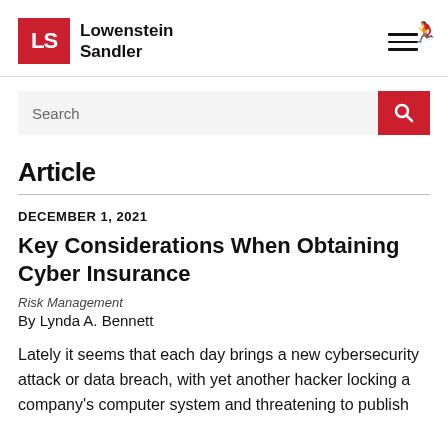Lowenstein Sandler
Search
Article
DECEMBER 1, 2021
Key Considerations When Obtaining Cyber Insurance
Risk Management
By Lynda A. Bennett
Lately it seems that each day brings a new cybersecurity attack or data breach, with yet another hacker locking a company's computer system and threatening to publish